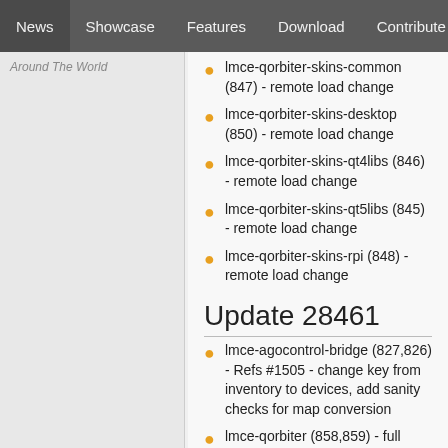News | Showcase | Features | Download | Contribute | Support
Around The World
lmce-qorbiter-skins-common (847) - remote load change
lmce-qorbiter-skins-desktop (850) - remote load change
lmce-qorbiter-skins-qt4libs (846) - remote load change
lmce-qorbiter-skins-qt5libs (845) - remote load change
lmce-qorbiter-skins-rpi (848) - remote load change
Update 28461
lmce-agocontrol-bridge (827,826) - Refs #1505 - change key from inventory to devices, add sanity checks for map conversion
lmce-qorbiter (858,859) - full packaging of qOrbiter for precise
Update 28459